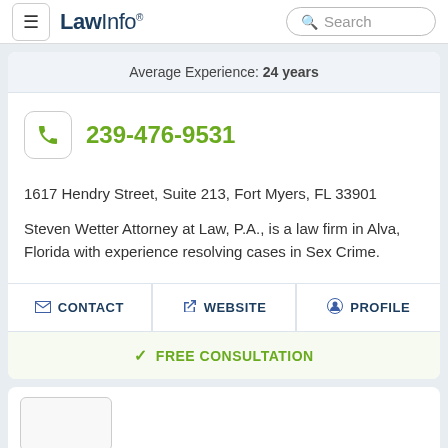LawInfo. Search
Average Experience: 24 years
239-476-9531
1617 Hendry Street, Suite 213, Fort Myers, FL 33901
Steven Wetter Attorney at Law, P.A., is a law firm in Alva, Florida with experience resolving cases in Sex Crime.
CONTACT
WEBSITE
PROFILE
FREE CONSULTATION